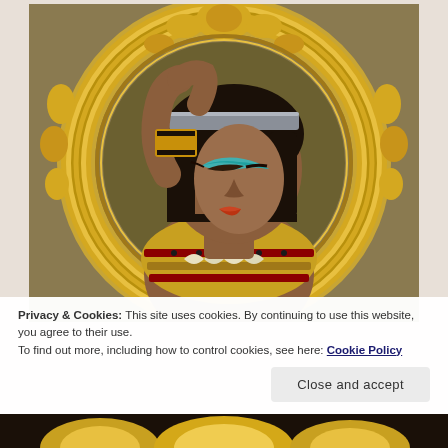[Figure (photo): A woman dressed as Cleopatra with a black bob wig, Egyptian eye makeup in teal/turquoise, a golden ornate collar/breastplate, and a gold Egyptian bracelet. She poses in front of a decorative golden baroque circular mirror frame, with her arm raised to her head. The background is a warm olive/brown tone.]
Privacy & Cookies: This site uses cookies. By continuing to use this website, you agree to their use.
To find out more, including how to control cookies, see here: Cookie Policy
Close and accept
[Figure (photo): Bottom strip of a second image showing golden decorative elements, partially visible at very bottom of page.]